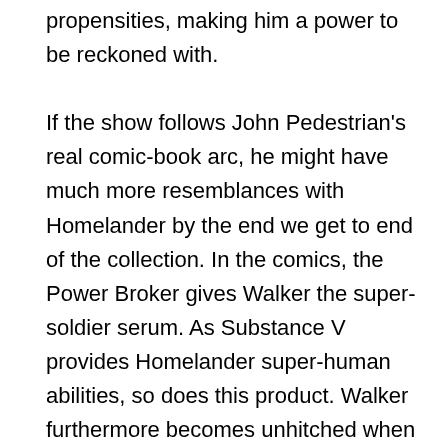propensities, making him a power to be reckoned with.

If the show follows John Pedestrian's real comic-book arc, he might have much more resemblances with Homelander by the end we get to end of the collection. In the comics, the Power Broker gives Walker the super-soldier serum. As Substance V provides Homelander super-human abilities, so does this product. Walker furthermore becomes unhitched when he handles the mantle of Captain America, disposing of bad guys in craze as well as damaging the inspiration laid by Steve Rogers. In the series however, Walker is already showing bitterness in the direction of Bucky and Sam after they decline to join his lead. It'll be really interesting to see Walker's ongoing character development as well as if The Falcon as well as the Winter months Soldier will bring him nearer to sharing more resemblances with Homelander.